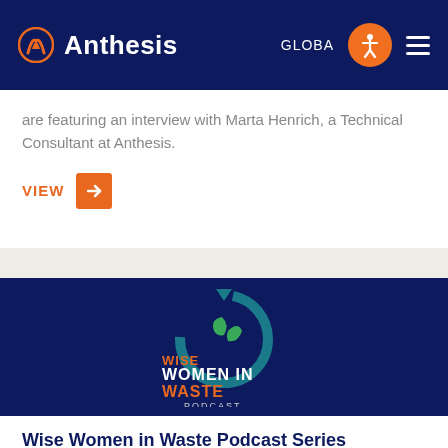Anthesis — GLOBAL
are featuring an interview with Marta Henrich, a Technical Consultant at Anthesis.
VIEW →
[Figure (logo): Wise Women in Waste Podcast logo on dark navy background — circular recycling arrows in teal with green leaves, text reads WISE WOMEN IN WASTE PODCAST]
Wise Women in Waste Podcast Series